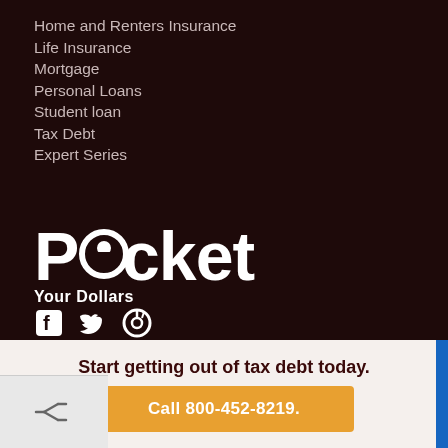Home and Renters Insurance
Life Insurance
Mortgage
Personal Loans
Student loan
Tax Debt
Expert Series
[Figure (logo): Pocket Your Dollars logo — large white text 'Pocket' with stylized 'o' containing a white dot, and tagline 'Your Dollars' in bold white below]
[Figure (other): Social media icons: Facebook, Twitter, Pinterest in white]
Start getting out of tax debt today.
Call 800-452-8219.